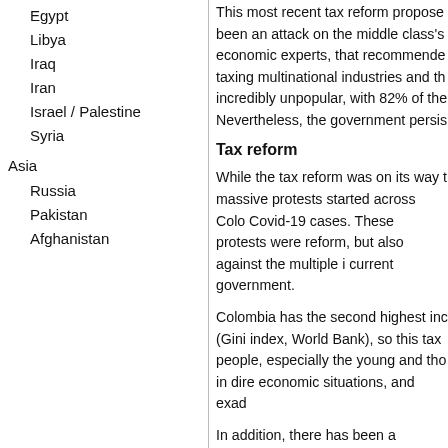Egypt
Libya
Iraq
Iran
Israel / Palestine
Syria
Asia
Russia
Pakistan
Afghanistan
This most recent tax reform propose been an attack on the middle class's economic experts, that recommende taxing multinational industries and th incredibly unpopular, with 82% of the Nevertheless, the government persis
Tax reform
While the tax reform was on its way t massive protests started across Colo Covid-19 cases. These protests were reform, but also against the multiple i current government.
Colombia has the second highest inc (Gini index, World Bank), so this tax people, especially the young and tho in dire economic situations, and exad
In addition, there has been a sustaine since this government took office on assassinated or disappeared, withou families.
The peaceful protests were carried o country, represented by all sectors, i students, and artists, and filled with